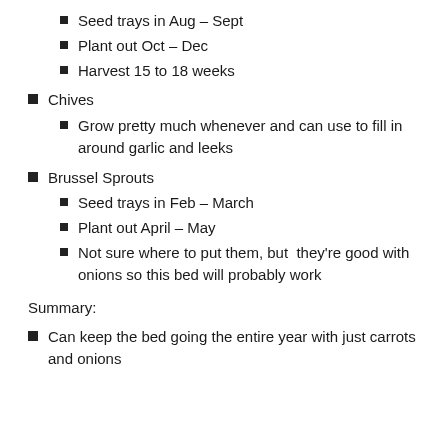Seed trays in Aug – Sept
Plant out Oct – Dec
Harvest 15 to 18 weeks
Chives
Grow pretty much whenever and can use to fill in around garlic and leeks
Brussel Sprouts
Seed trays in Feb – March
Plant out April – May
Not sure where to put them, but  they're good with onions so this bed will probably work
Summary:
Can keep the bed going the entire year with just carrots and onions